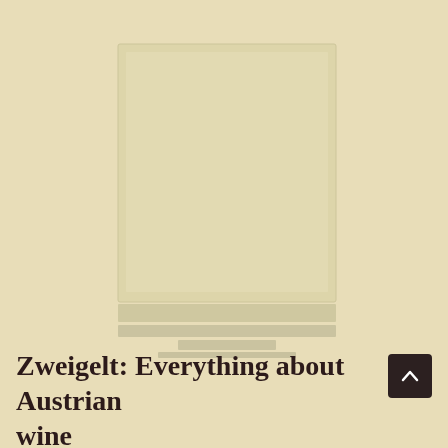[Figure (illustration): A stylized illustration of a wine bottle or wine glass, rendered in muted beige/cream tones against a similar background, giving a subtle faded appearance.]
Zweigelt: Everything about Austrian wine